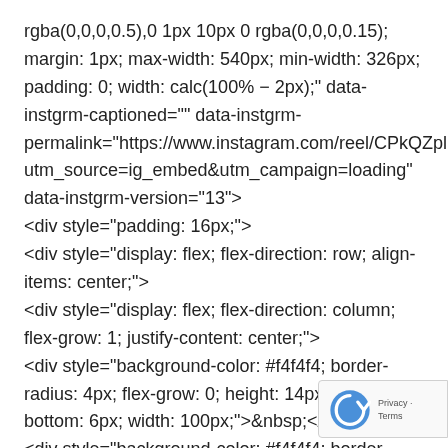rgba(0,0,0,0.5),0 1px 10px 0 rgba(0,0,0,0.15); margin: 1px; max-width: 540px; min-width: 326px; padding: 0; width: calc(100% − 2px);" data-instgrm-captioned="" data-instgrm-permalink="https://www.instagram.com/reel/CPkQZplDGAw/?utm_source=ig_embed&amp;utm_campaign=loading" data-instgrm-version="13">
<div style="padding: 16px;">
<div style="display: flex; flex-direction: row; align-items: center;">
<div style="display: flex; flex-direction: column; flex-grow: 1; justify-content: center;">
<div style="background-color: #f4f4f4; border-radius: 4px; flex-grow: 0; height: 14px; margin-bottom: 6px; width: 100px;">&nbsp;</div>
<div style="background-color: #f4f4f4; border-radius: 4 flex-grow: 0; height: 14px; width: 60px;">&nbsp;</div>
</div>